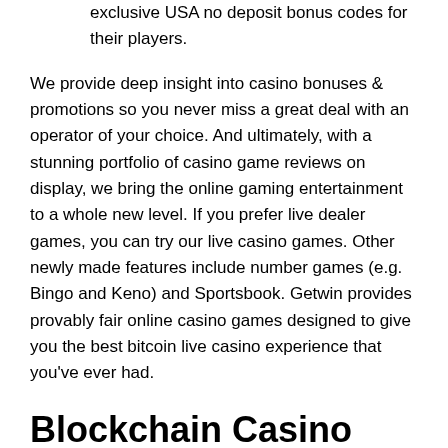exclusive USA no deposit bonus codes for their players.
We provide deep insight into casino bonuses & promotions so you never miss a great deal with an operator of your choice. And ultimately, with a stunning portfolio of casino game reviews on display, we bring the online gaming entertainment to a whole new level. If you prefer live dealer games, you can try our live casino games. Other newly made features include number games (e.g. Bingo and Keno) and Sportsbook. Getwin provides provably fair online casino games designed to give you the best bitcoin live casino experience that you've ever had.
Blockchain Casino Games
However, many of our listed Bitcoin Casinos offer